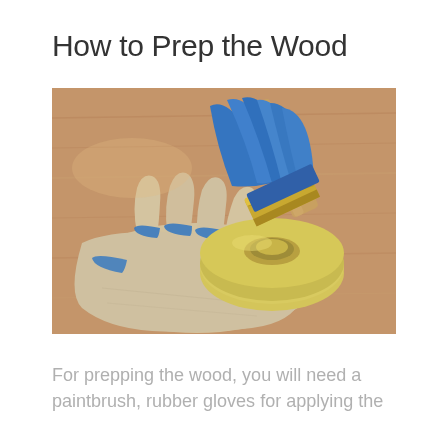How to Prep the Wood
[Figure (photo): A blue-bristled paintbrush with gold metal ferrule and wooden handle resting on a roll of yellow masking tape, placed on top of work gloves with blue leather reinforcements, all on a wooden surface.]
For prepping the wood, you will need a paintbrush, rubber gloves for applying the